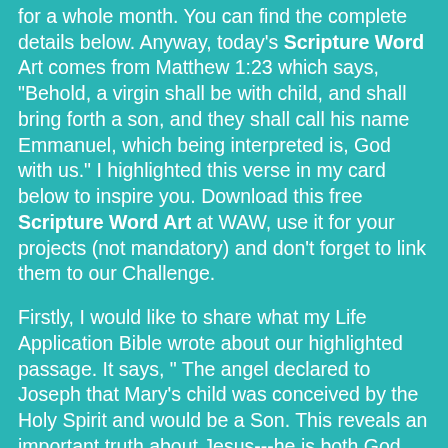for a whole month.  You can find the complete details below.  Anyway, today's Scripture Word Art comes from Matthew 1:23 which says, "Behold, a virgin shall be with child, and shall bring forth a son, and they shall call his name Emmanuel, which being interpreted is, God with us."  I highlighted this verse in my card below to inspire you.  Download this free Scripture Word Art at WAW, use it for your projects (not mandatory) and don't forget to link  them to our Challenge.
Firstly, I would like to share what my Life Application Bible wrote about our highlighted passage.  It says, " The angel declared to Joseph that Mary's child was conceived by the Holy Spirit and would be a Son.  This reveals an important truth about Jesus---he is both God and human. The infinite, unlimited God took on the limitations of humanity so He could live and die for the salvation of all who would believe in Him.  Jesus means "the Lord saves."  Jesus came to earth to save us because we can't save ourselves from Sin and its consequences.  No matter how good we are, we can't eliminate the Sinful Nature present in all of us. Only Jesus can do that.  Jesus didn't come to help people save themselves. He came to be their Savior from the...